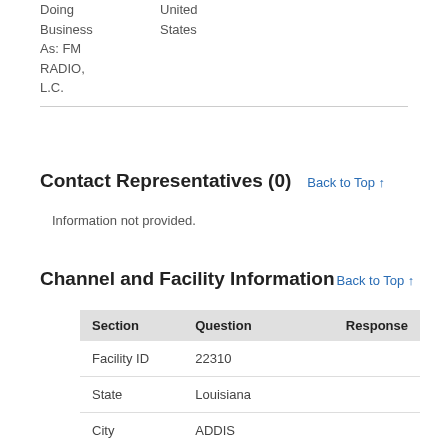Doing Business As: FM RADIO, L.C.   United States
Contact Representatives (0)
Back to Top ↑
Information not provided.
Channel and Facility Information
Back to Top ↑
| Section | Question | Response |
| --- | --- | --- |
| Facility ID | 22310 |  |
| State | Louisiana |  |
| City | ADDIS |  |